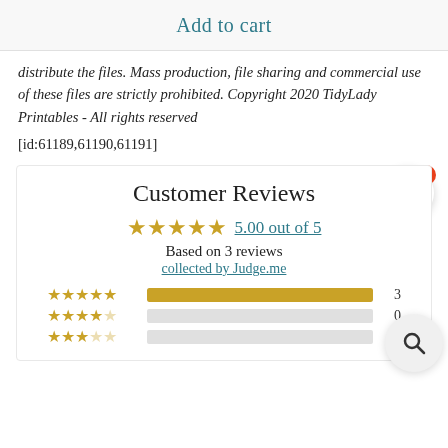Add to cart
distribute the files. Mass production, file sharing and commercial use of these files are strictly prohibited. Copyright 2020 TidyLady Printables - All rights reserved
[id:61189,61190,61191]
Customer Reviews
5.00 out of 5 — Based on 3 reviews — collected by Judge.me
| Stars | Bar | Count |
| --- | --- | --- |
| ★★★★★ | full | 3 |
| ★★★★☆ | empty | 0 |
| ★★★☆☆ | empty | 0 |